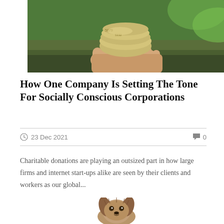[Figure (photo): Hands holding a rolled bundle of US dollar bills against a green outdoor background]
How One Company Is Setting The Tone For Socially Conscious Corporations
23 Dec 2021   0
Charitable donations are playing an outsized part in how large firms and internet start-ups alike are seen by their clients and workers as our global...
[Figure (photo): Close-up of a small scruffy dog with floppy ears looking at the camera against a white background]